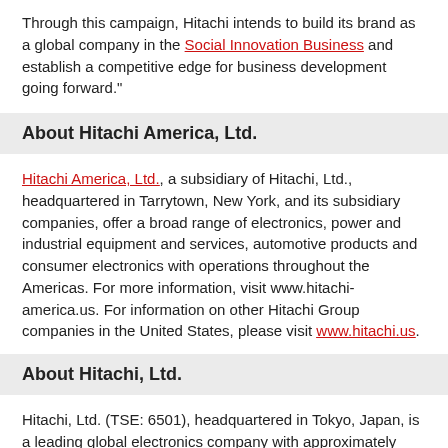Through this campaign, Hitachi intends to build its brand as a global company in the Social Innovation Business and establish a competitive edge for business development going forward."
About Hitachi America, Ltd.
Hitachi America, Ltd., a subsidiary of Hitachi, Ltd., headquartered in Tarrytown, New York, and its subsidiary companies, offer a broad range of electronics, power and industrial equipment and services, automotive products and consumer electronics with operations throughout the Americas. For more information, visit www.hitachi-america.us. For information on other Hitachi Group companies in the United States, please visit www.hitachi.us.
About Hitachi, Ltd.
Hitachi, Ltd. (TSE: 6501), headquartered in Tokyo, Japan, is a leading global electronics company with approximately 326,000 employees worldwide. The company's consolidated revenues for fiscal 2012 (ended March 31, 2013) totaled 9,041 billion yen ($96.1 billion). Hitachi is focusing more than ever on the Social